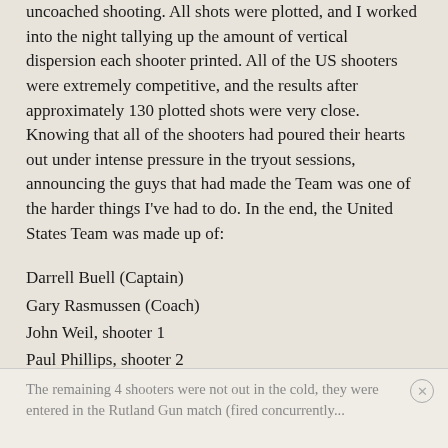uncoached shooting. All shots were plotted, and I worked into the night tallying up the amount of vertical dispersion each shooter printed. All of the US shooters were extremely competitive, and the results after approximately 130 plotted shots were very close. Knowing that all of the shooters had poured their hearts out under intense pressure in the tryout sessions, announcing the guys that had made the Team was one of the harder things I've had to do. In the end, the United States Team was made up of:
Darrell Buell (Captain)
Gary Rasmussen (Coach)
John Weil, shooter 1
Paul Phillips, shooter 2
Monte Milanuk, shooter 3
Jeff Rorer, shooter 4
Dale Carpenter, reserve shooter
Kathy Buell (register keeper)
The remaining 4 shooters were not out in the cold, they were entered in the Rutland Gun match (fired concurrently...